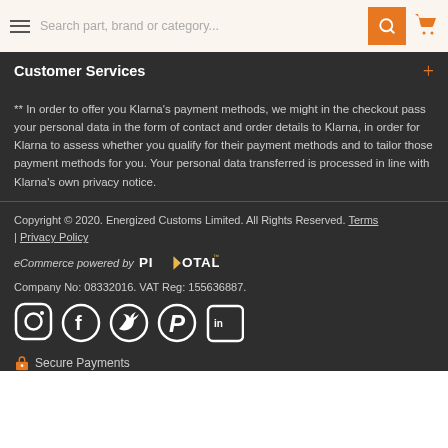Search part, brand or category...
Customer Services
** In order to offer you Klarna's payment methods, we might in the checkout pass your personal data in the form of contact and order details to Klarna, in order for Klarna to assess whether you qualify for their payment methods and to tailor those payment methods for you. Your personal data transferred is processed in line with Klarna's own privacy notice.
Copyright © 2020. Energized Customs Limited. All Rights Reserved. Terms | Privacy Policy
eCommerce powered by PIVOTAL
Company No: 08332016. VAT Reg: 155636887.
[Figure (illustration): Social media icons: Instagram, Facebook, Twitter, Pinterest, LinkedIn]
Secure Payments